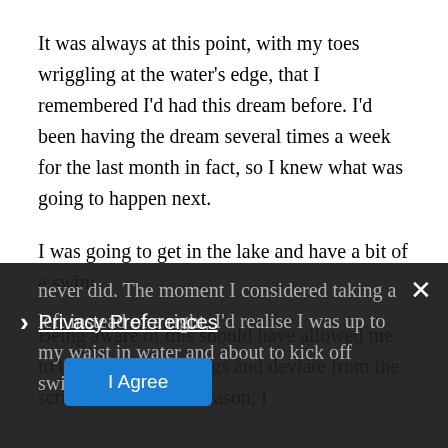It was always at this point, with my toes wriggling at the water's edge, that I remembered I'd had this dream before. I'd been having the dream several times a week for the last month in fact, so I knew what was going to happen next.
I was going to get in the lake and have a bit of a swim.
Being aware of this should have allowed me to take control of things and deviate from the script, but for some reason, I never did. The moment I considered taking a left instead of a right, I'd realise I was up to my waist in water and about to kick off swimming.
Privacy Preferences | I Agree (cookie banner overlay)